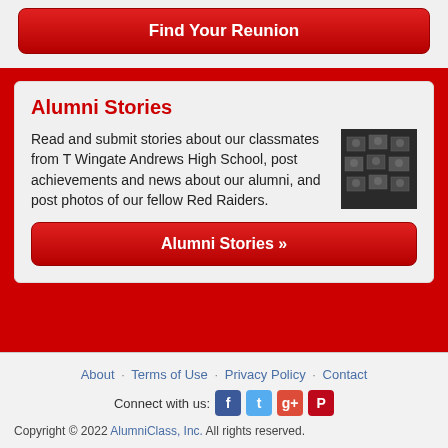Find Your Reunion
Alumni Stories
Read and submit stories about our classmates from T Wingate Andrews High School, post achievements and news about our alumni, and post photos of our fellow Red Raiders.
[Figure (photo): Black and white photo of framed pictures on a wall, resembling a memorial or alumni photo display]
Alumni Stories »
About · Terms of Use · Privacy Policy · Contact
Connect with us:
Copyright © 2022 AlumniClass, Inc. All rights reserved.